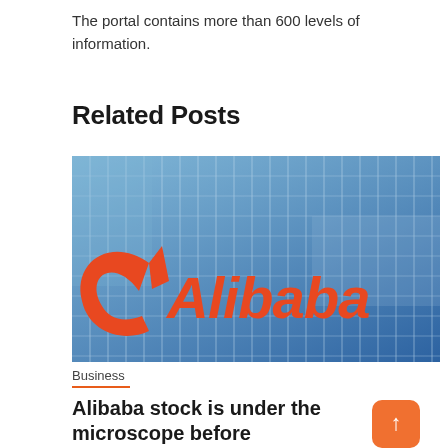The portal contains more than 600 levels of information.
Related Posts
[Figure (photo): Alibaba corporate building facade with blue glass windows and large orange Alibaba logo and icon on the exterior.]
Business
Alibaba stock is under the microscope before earnings; What